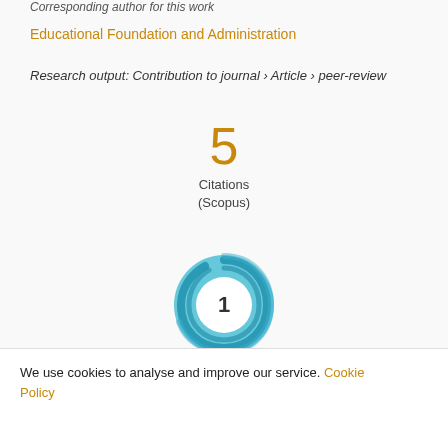Corresponding author for this work
Educational Foundation and Administration
Research output: Contribution to journal › Article › peer-review
5
Citations
(Scopus)
[Figure (other): Altmetric badge showing a circular blue swirl design with the number 1 in the center]
We use cookies to analyse and improve our service. Cookie Policy